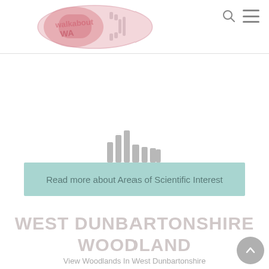[Figure (logo): Walkabout WA logo — oval pink/red footprint with text 'walkabout WA']
[Figure (other): Loading indicator — grey vertical bars of varying heights]
Read more about Areas of Scientific Interest
WEST DUNBARTONSHIRE WOODLAND
View Woodlands In West Dunbartonshire